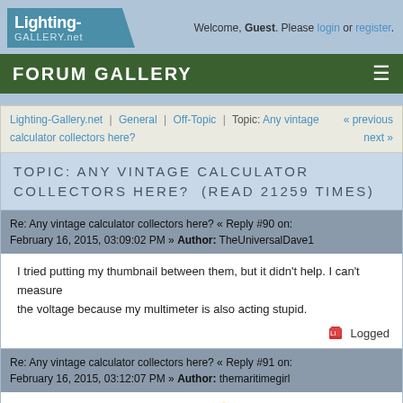Lighting-GALLERY.net | Welcome, Guest. Please login or register.
FORUM GALLERY
Lighting-Gallery.net | General | Off-Topic | Topic: Any vintage calculator collectors here? « previous next »
TOPIC: ANY VINTAGE CALCULATOR COLLECTORS HERE? (READ 21259 TIMES)
Re: Any vintage calculator collectors here? « Reply #90 on: February 16, 2015, 03:09:02 PM » Author: TheUniversalDave1
I tried putting my thumbnail between them, but it didn't help. I can't measure the voltage because my multimeter is also acting stupid.
Logged
Re: Any vintage calculator collectors here? « Reply #91 on: February 16, 2015, 03:12:07 PM » Author: themaritimegirl
Maybe that needs a new battery, too.